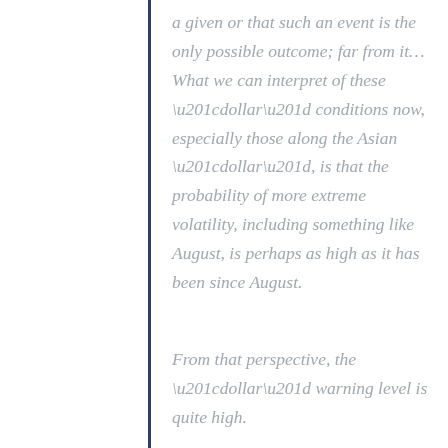a given or that such an event is the only possible outcome; far from it... What we can interpret of these “dollar” conditions now, especially those along the Asian “dollar”, is that the probability of more extreme volatility, including something like August, is perhaps as high as it has been since August.
From that perspective, the “dollar” warning level is quite high.